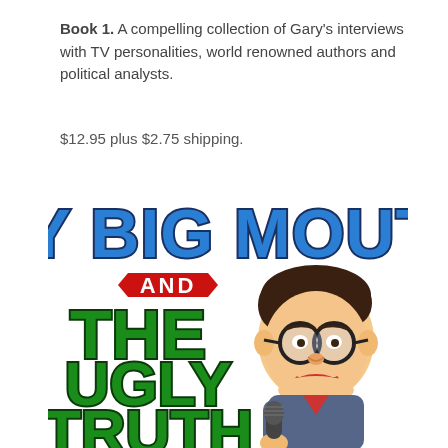Book 1. A compelling collection of Gary's interviews with TV personalities, world renowned authors and political analysts.
$12.95 plus $2.75 shipping.
[Figure (illustration): Book cover illustration for 'My Big Mouth and the Ugly Truth' featuring bold blue text 'MY BIG MOUTH' at top, a red hexagonal badge with white text 'AND', green block letters 'THE UGLY TRUTH' on the left, and a cartoon caricature of a man with glasses holding a microphone on the right.]